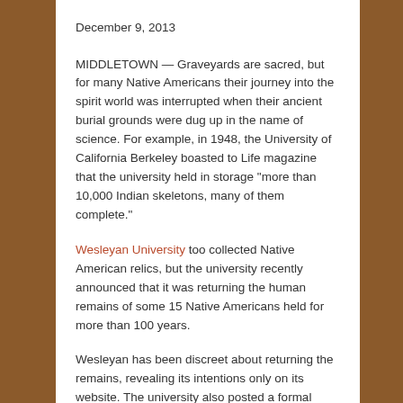December 9, 2013
MIDDLETOWN — Graveyards are sacred, but for many Native Americans their journey into the spirit world was interrupted when their ancient burial grounds were dug up in the name of science. For example, in 1948, the University of California Berkeley boasted to Life magazine that the university held in storage “more than 10,000 Indian skeletons, many of them complete.”
Wesleyan University too collected Native American relics, but the university recently announced that it was returning the human remains of some 15 Native Americans held for more than 100 years.
Wesleyan has been discreet about returning the remains, revealing its intentions only on its website. The university also posted a formal apology “to all Native Nations and indigenous peoples” for keeping the relics so long.